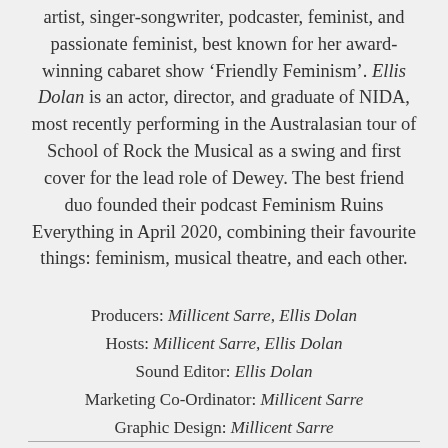artist, singer-songwriter, podcaster, feminist, and passionate feminist, best known for her award-winning cabaret show ‘Friendly Feminism’. Ellis Dolan is an actor, director, and graduate of NIDA, most recently performing in the Australasian tour of School of Rock the Musical as a swing and first cover for the lead role of Dewey. The best friend duo founded their podcast Feminism Ruins Everything in April 2020, combining their favourite things: feminism, musical theatre, and each other.
Producers: Millicent Sarre, Ellis Dolan
Hosts: Millicent Sarre, Ellis Dolan
Sound Editor: Ellis Dolan
Marketing Co-Ordinator: Millicent Sarre
Graphic Design: Millicent Sarre